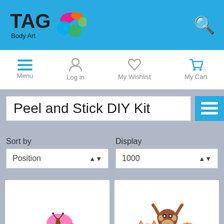TAG Body Art - Peel and Stick DIY Kit
Peel and Stick DIY Kit
Sort by
Position
Display
1000
[Figure (photo): Insect stick puppets - bee, ladybug, and butterfly on popsicle sticks]
[Figure (photo): Safari animal stick puppets - tiger, monkey, and lion on popsicle sticks]